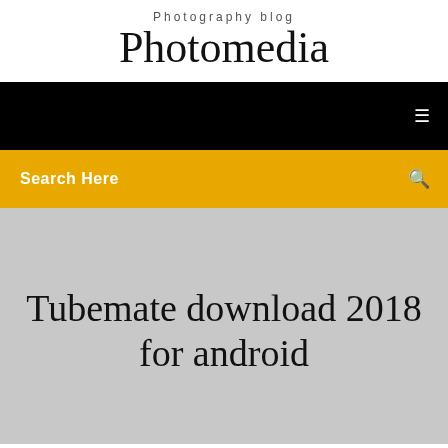Photography blog
Photomedia
[Figure (screenshot): Black navigation bar with a menu icon on the right]
[Figure (screenshot): Orange/yellow search bar with 'Search Here' label and search icon]
Tubemate download 2018 for android